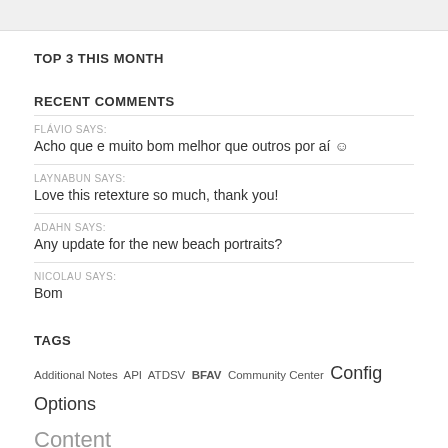TOP 3 THIS MONTH
RECENT COMMENTS
FLÁVIO SAYS:
Acho que e muito bom melhor que outros por aí ☺
LAYNABUN SAYS:
Love this retexture so much, thank you!
ADAHN SAYS:
Any update for the new beach portraits?
NICOLAU SAYS:
Bom
TAGS
Additional Notes  API  ATDSV  BFAV  Community Center  Config Options  Content